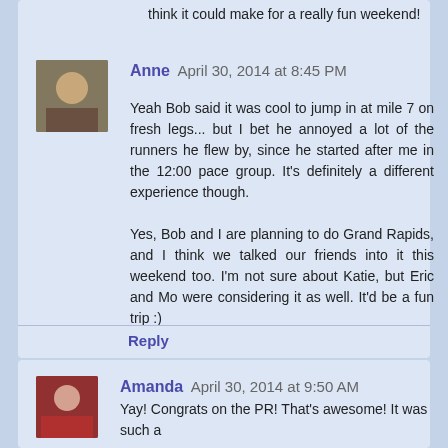think it could make for a really fun weekend!
Anne  April 30, 2014 at 8:45 PM
Yeah Bob said it was cool to jump in at mile 7 on fresh legs... but I bet he annoyed a lot of the runners he flew by, since he started after me in the 12:00 pace group. It's definitely a different experience though.

Yes, Bob and I are planning to do Grand Rapids, and I think we talked our friends into it this weekend too. I'm not sure about Katie, but Eric and Mo were considering it as well. It'd be a fun trip :)
Reply
Amanda  April 30, 2014 at 9:50 AM
Yay! Congrats on the PR! That's awesome! It was such a